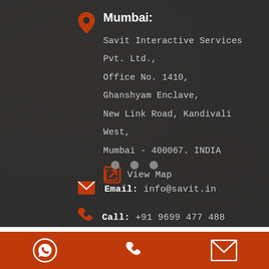Mumbai:
Savit Interactive Services Pvt. Ltd.,
Office No. 1410,
Ghanshyam Enclave,
New Link Road, Kandivali West,
Mumbai - 400067. INDIA
View Map
Email: info@savit.in
Call: +91 9699 477 488
[Figure (infographic): Orange footer bar with WhatsApp icon, phone icon, and email icon in white]